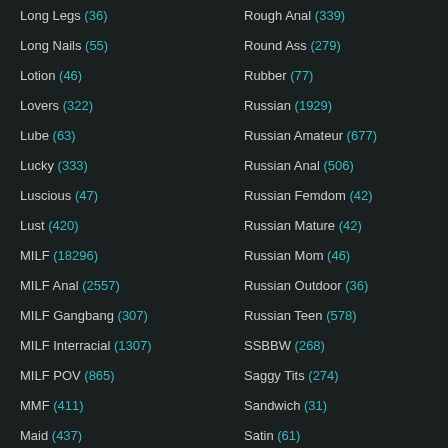Long Legs (36)
Long Nails (55)
Lotion (46)
Lovers (322)
Lube (63)
Lucky (333)
Luscious (47)
Lust (420)
MILF (18296)
MILF Anal (2557)
MILF Gangbang (307)
MILF Interracial (1307)
MILF POV (865)
MMF (411)
Maid (437)
Rough Anal (339)
Round Ass (279)
Rubber (77)
Russian (1929)
Russian Amateur (677)
Russian Anal (506)
Russian Femdom (42)
Russian Mature (42)
Russian Mom (46)
Russian Outdoor (36)
Russian Teen (578)
SSBBW (268)
Saggy Tits (274)
Sandwich (31)
Satin (61)
Sauna (44)